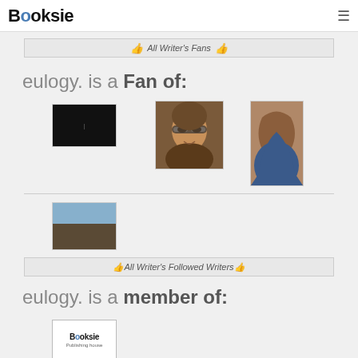Booksie
👍 All Writer's Fans 👍
eulogy. is a Fan of:
[Figure (photo): Black image thumbnail]
[Figure (photo): Close-up face photo of person with glasses]
[Figure (photo): Portrait photo of young woman with long hair]
[Figure (photo): Landscape photo showing sky and dark ground]
👍 All Writer's Followed Writers 👍
eulogy. is a member of:
[Figure (logo): Booksie Publishing house logo]